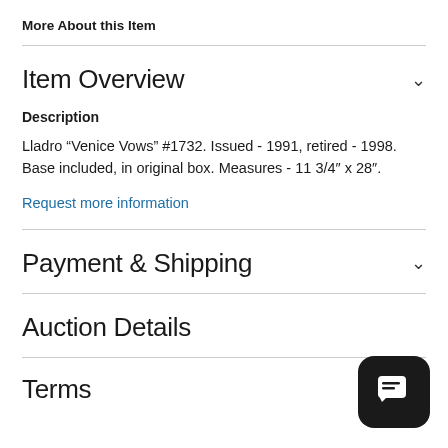More About this Item
Item Overview
Description
Lladro "Venice Vows" #1732. Issued - 1991, retired - 1998. Base included, in original box. Measures - 11 3/4" x 28".
Request more information
Payment & Shipping
Auction Details
Terms